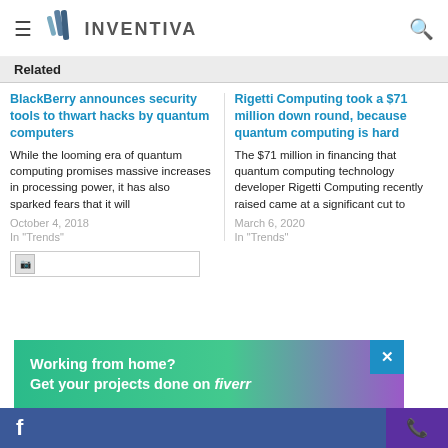INVENTIVA
Related
BlackBerry announces security tools to thwart hacks by quantum computers
While the looming era of quantum computing promises massive increases in processing power, it has also sparked fears that it will
October 4, 2018
In "Trends"
Rigetti Computing took a $71 million down round, because quantum computing is hard
The $71 million in financing that quantum computing technology developer Rigetti Computing recently raised came at a significant cut to
March 6, 2020
In "Trends"
[Figure (other): Broken image placeholder]
Working from home? Get your projects done on fiverr
Facebook | Phone